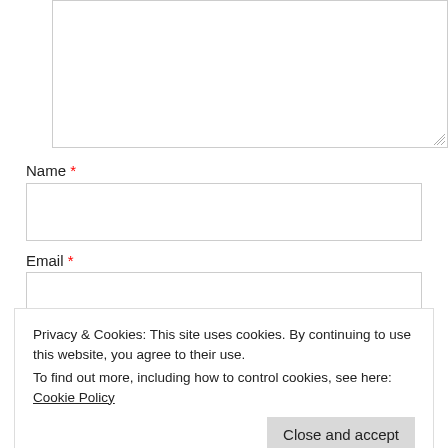[Figure (screenshot): A large empty textarea input box with a resize handle in the bottom-right corner]
Name *
[Figure (screenshot): An empty Name text input field]
Email *
[Figure (screenshot): An empty Email text input field]
Privacy & Cookies: This site uses cookies. By continuing to use this website, you agree to their use.
To find out more, including how to control cookies, see here: Cookie Policy
Close and accept
Notify me of new comments via email.